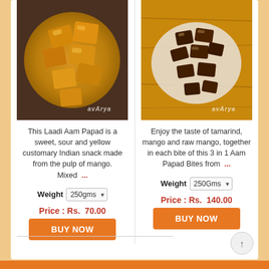[Figure (photo): Laadi Aam Papad - golden/orange square snack pieces on a plate, top-down view, with avArya watermark]
[Figure (photo): 3-in-1 Aam Papad Bites - dark brown bite-sized pieces on a plate on wooden surface, with avArya watermark]
This Laadi Aam Papad is a sweet, sour and yellow customary Indian snack made from the pulp of mango. Mixed ...
Enjoy the taste of tamarind, mango and raw mango, together in each bite of this 3 in 1 Aam Papad Bites from ...
Weight 250gms
Weight 250Gms
Price : Rs. 70.00
Price : Rs. 140.00
BUY NOW
BUY NOW